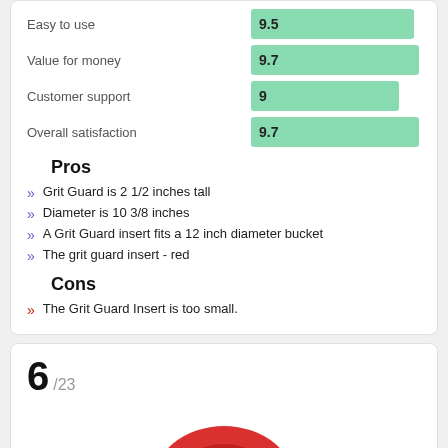Easy to use — 9.5
Value for money — 9.7
Customer support — 9
Overall satisfaction — 9.7
Pros
Grit Guard is 2 1/2 inches tall
Diameter is 10 3/8 inches
A Grit Guard insert fits a 12 inch diameter bucket
The grit guard insert - red
Cons
The Grit Guard Insert is too small.
6 /23
[Figure (photo): Red circular Grit Guard insert product photo, partially visible at bottom of page]